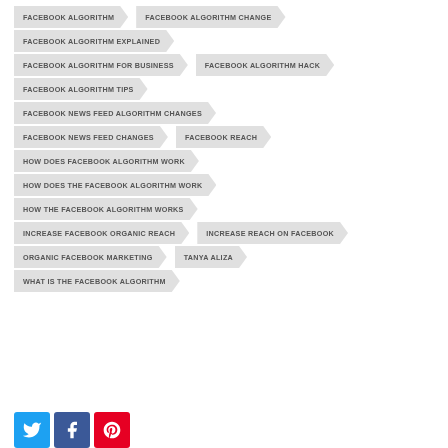FACEBOOK ALGORITHM
FACEBOOK ALGORITHM CHANGE
FACEBOOK ALGORITHM EXPLAINED
FACEBOOK ALGORITHM FOR BUSINESS
FACEBOOK ALGORITHM HACK
FACEBOOK ALGORITHM TIPS
FACEBOOK NEWS FEED ALGORITHM CHANGES
FACEBOOK NEWS FEED CHANGES
FACEBOOK REACH
HOW DOES FACEBOOK ALGORITHM WORK
HOW DOES THE FACEBOOK ALGORITHM WORK
HOW THE FACEBOOK ALGORITHM WORKS
INCREASE FACEBOOK ORGANIC REACH
INCREASE REACH ON FACEBOOK
ORGANIC FACEBOOK MARKETING
TANYA ALIZA
WHAT IS THE FACEBOOK ALGORITHM